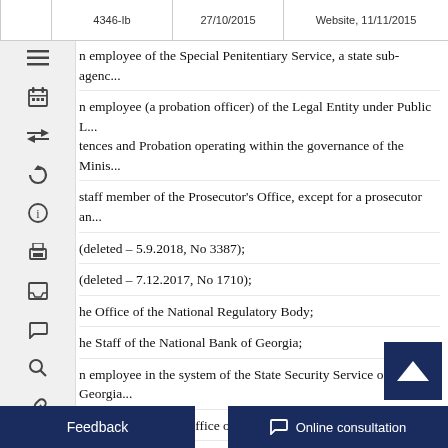|  | 4346-Ib | 27/10/2015 | Website, 11/11/2015 |
| --- | --- | --- | --- |
|  |
an employee of the Special Penitentiary Service, a state sub-agenc...
an employee (a probation officer) of the Legal Entity under Public L... tences and Probation operating within the governance of the Minis...
a staff member of the Prosecutor's Office, except for a prosecutor an...
(deleted – 5.9.2018, No 3387);
(deleted – 7.12.2017, No 1710);
the Office of the National Regulatory Body;
the Staff of the National Bank of Georgia;
an employee in the system of the State Security Service of Georgia...
an employee of the Office of the National Security Council;
an employee of the State Audit Service;
employees of a structural unit implementing official inspection and c...
...ervise in a public institution that does not involve the performa...
...lation of Georgia, in consideration of the peculiarities defined i...